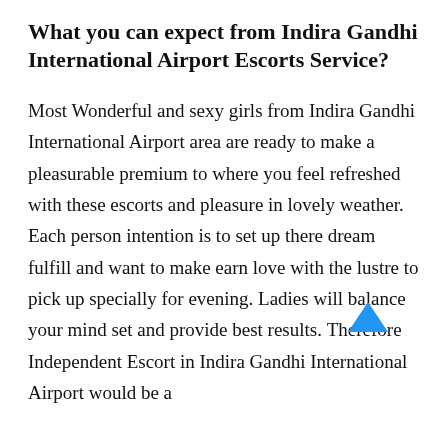What you can expect from Indira Gandhi International Airport Escorts Service?
Most Wonderful and sexy girls from Indira Gandhi International Airport area are ready to make a pleasurable premium to where you feel refreshed with these escorts and pleasure in lovely weather. Each person intention is to set up there dream fulfill and want to make earn love with the lustre to pick up specially for evening. Ladies will balance your mind set and provide best results. Therefore Independent Escort in Indira Gandhi International Airport would be a